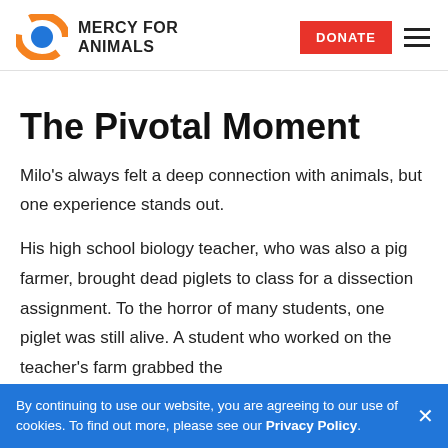MERCY FOR ANIMALS — DONATE
The Pivotal Moment
Milo's always felt a deep connection with animals, but one experience stands out.
His high school biology teacher, who was also a pig farmer, brought dead piglets to class for a dissection assignment. To the horror of many students, one piglet was still alive. A student who worked on the teacher's farm grabbed the
By continuing to use our website, you are agreeing to our use of cookies. To find out more, please see our Privacy Policy.